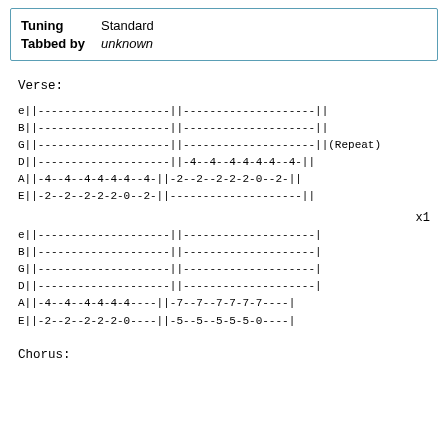| Field | Value |
| --- | --- |
| Tuning | Standard |
| Tabbed by | unknown |
Verse:
e||--------------------||--------------------||
B||--------------------||--------------------||  
G||--------------------||--------------------||(Repeat)
D||--------------------||-4--4--4-4-4-4--4-||
A||-4--4--4-4-4-4--4-||-2--2--2-2-2-0--2-||
E||-2--2--2-2-2-0--2-||--------------------||
x1
e||--------------------||--------------------|
B||--------------------||--------------------|
G||--------------------||--------------------|
D||--------------------||--------------------|
A||-4--4--4-4-4-4----||-7--7--7-7-7-7----|
E||-2--2--2-2-2-0----||-5--5--5-5-5-0----|
Chorus: